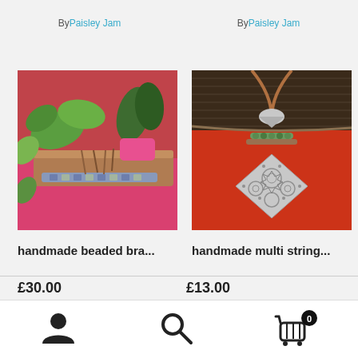By Paisley Jam
By Paisley Jam
[Figure (photo): Photo of handmade beaded bracelet on a wooden board surrounded by succulent plants on a pink background]
[Figure (photo): Photo of handmade multi string pendant necklace with decorative metal diamond-shaped pendant on a red/orange background]
handmade beaded bra...
handmade multi string...
£30.00
£13.00
[Figure (other): User/profile icon (silhouette person)]
[Figure (other): Search/magnifying glass icon]
[Figure (other): Shopping cart icon with badge showing 0]